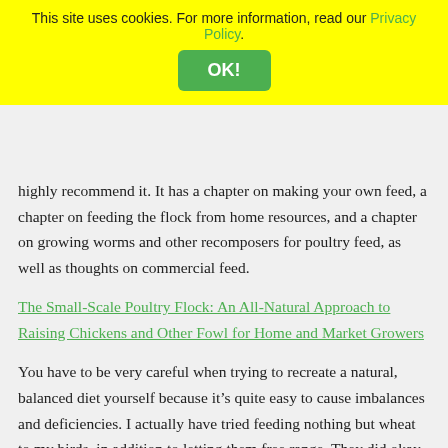This site uses cookies. For more information, read our Privacy Policy. OK!
highly recommend it. It has a chapter on making your own feed, a chapter on feeding the flock from home resources, and a chapter on growing worms and other recomposers for poultry feed, as well as thoughts on commercial feed.
The Small-Scale Poultry Flock: An All-Natural Approach to Raising Chickens and Other Fowl for Home and Market Growers
You have to be very careful when trying to recreate a natural, balanced diet yourself because it’s quite easy to cause imbalances and deficiencies. I actually have tried feeding nothing but wheat to my birds, in addition to letting them free range. They did okay, but they had trouble molting, and the babies did not grow normally. It